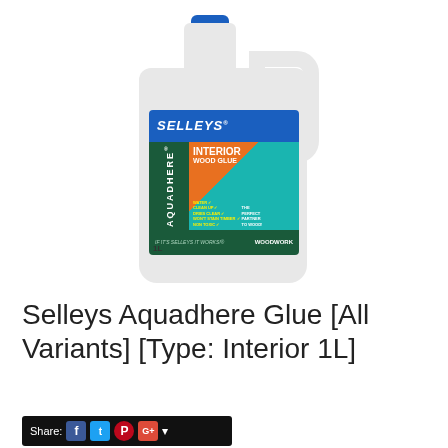[Figure (photo): Selleys Aquadhere Interior Wood Glue 1L bottle — white plastic jug with blue cap and handle, featuring a label with blue Selleys branding on top, dark green vertical strip with AQUADHERE text, orange and teal lower section with INTERIOR WOOD GLUE text, an image of a wooden bedside table, and product claims including WATER CLEAN UP, DRIES CLEAR, WON'T STAIN TIMBER, NON TOXIC, THE PERFECT PARTNER TO WOOD. Bottom strip reads IF IT'S SELLEYS IT WORKS! and WOODWORK.]
Selleys Aquadhere Glue [All Variants] [Type: Interior 1L]
Share: